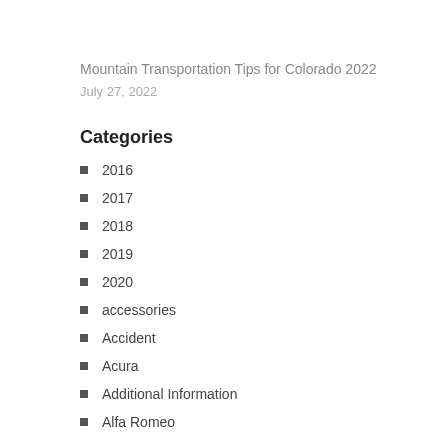Mountain Transportation Tips for Colorado 2022
July 27, 2022
Categories
2016
2017
2018
2019
2020
accessories
Accident
Acura
Additional Information
Alfa Romeo